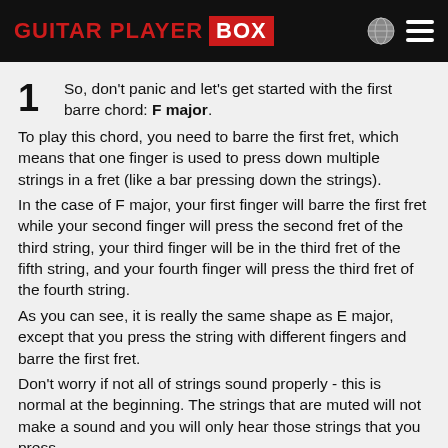Guitar Player BOX
So, don't panic and let's get started with the first barre chord: F major.
To play this chord, you need to barre the first fret, which means that one finger is used to press down multiple strings in a fret (like a bar pressing down the strings).
In the case of F major, your first finger will barre the first fret while your second finger will press the second fret of the third string, your third finger will be in the third fret of the fifth string, and your fourth finger will press the third fret of the fourth string.
As you can see, it is really the same shape as E major, except that you press the string with different fingers and barre the first fret.
Don't worry if not all of strings sound properly - this is normal at the beginning. The strings that are muted will not make a sound and you will only hear those strings that you press